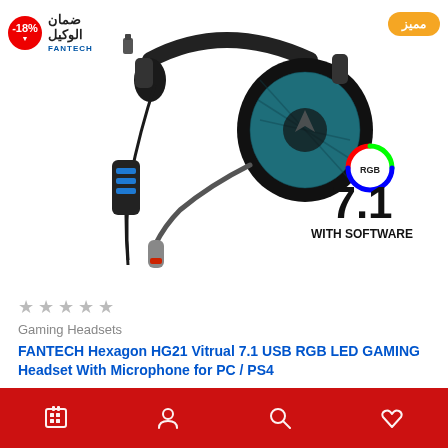[Figure (photo): FANTECH Hexagon HG21 gaming headset product photo showing black headset with blue RGB ear cups, USB cable with inline controller, microphone, RGB badge, and 7.1 WITH SOFTWARE text]
-18% ضمان الوكيل
مميز
★ ★ ★ ★ ★
Gaming Headsets
FANTECH Hexagon HG21 Vitrual 7.1 USB RGB LED GAMING Headset With Microphone for PC / PS4